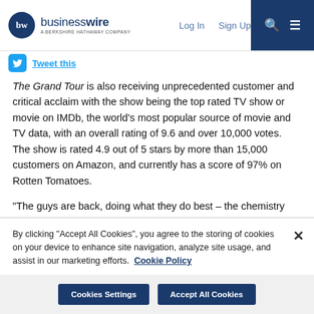businesswire — A Berkshire Hathaway Company | Log In | Sign Up
Tweet this
The Grand Tour is also receiving unprecedented customer and critical acclaim with the show being the top rated TV show or movie on IMDb, the world's most popular source of movie and TV data, with an overall rating of 9.6 and over 10,000 votes. The show is rated 4.9 out of 5 stars by more than 15,000 customers on Amazon, and currently has a score of 97% on Rotten Tomatoes.
“The guys are back, doing what they do best – the chemistry between Jeremy, Richard and James is what makes The Grand Tour so entertaining,” said Jeff Bezos, Chief Executive Officer of Amazon. “Their attention to detail with the cars, in production quality...
By clicking “Accept All Cookies”, you agree to the storing of cookies on your device to enhance site navigation, analyze site usage, and assist in our marketing efforts. Cookie Policy
Cookies Settings | Accept All Cookies